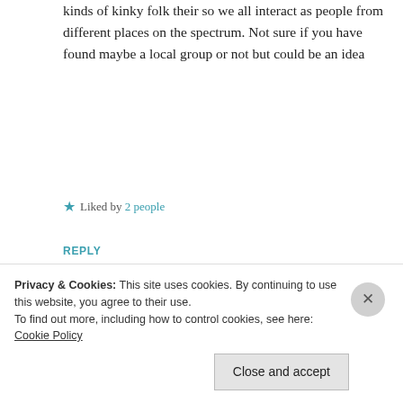kinds of kinky folk their so we all interact as people from different places on the spectrum. Not sure if you have found maybe a local group or not but could be an idea
★ Liked by 2 people
REPLY
[Figure (photo): Circular avatar of Stormrolfr showing a wolf silhouette against a dark teal/blue background]
Stormrolfr
Privacy & Cookies: This site uses cookies. By continuing to use this website, you agree to their use. To find out more, including how to control cookies, see here: Cookie Policy
Close and accept